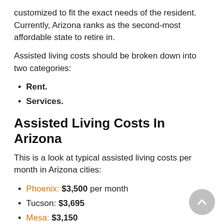customized to fit the exact needs of the resident. Currently, Arizona ranks as the second-most affordable state to retire in.
Assisted living costs should be broken down into two categories:
Rent.
Services.
Assisted Living Costs In Arizona
This is a look at typical assisted living costs per month in Arizona cities:
Phoenix: $3,500 per month
Tucson: $3,695
Mesa: $3,150
Chandler: $3,600